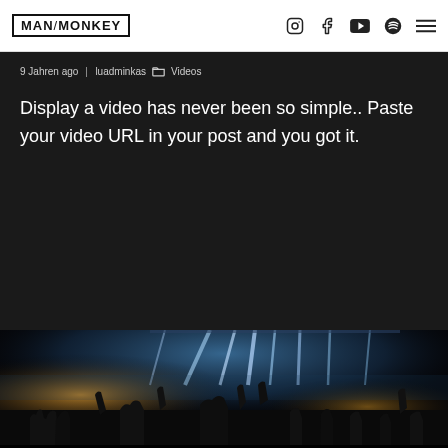MAN/MONKEY — navigation header with logo and social icons
9 Jahren ago  luadminkas  Videos
Display a video has never been so simple.. Paste your video URL in your post and you got it.
[Figure (photo): Concert photo showing silhouettes of crowd with hands raised against stage lighting with blue spotlights and smoke/haze atmosphere]